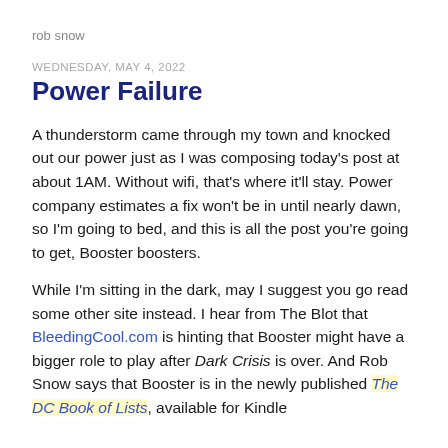rob snow
WEDNESDAY, MAY 4, 2022
Power Failure
A thunderstorm came through my town and knocked out our power just as I was composing today's post at about 1AM. Without wifi, that's where it'll stay. Power company estimates a fix won't be in until nearly dawn, so I'm going to bed, and this is all the post you're going to get, Booster boosters.
While I'm sitting in the dark, may I suggest you go read some other site instead. I hear from The Blot that BleedingCool.com is hinting that Booster might have a bigger role to play after Dark Crisis is over. And Rob Snow says that Booster is in the newly published The DC Book of Lists, available for Kindle